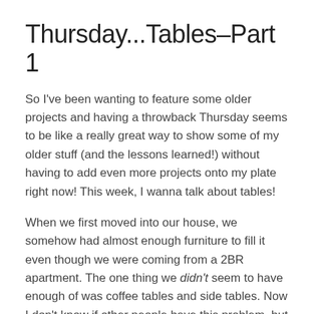Thursday...Tables–Part 1
So I've been wanting to feature some older projects and having a throwback Thursday seems to be like a really great way to show some of my older stuff (and the lessons learned!) without having to add even more projects onto my plate right now! This week, I wanna talk about tables!
When we first moved into our house, we somehow had almost enough furniture to fill it even though we were coming from a 2BR apartment. The one thing we didn't seem to have enough of was coffee tables and side tables. Now I don't know if other people have this problem, but for some